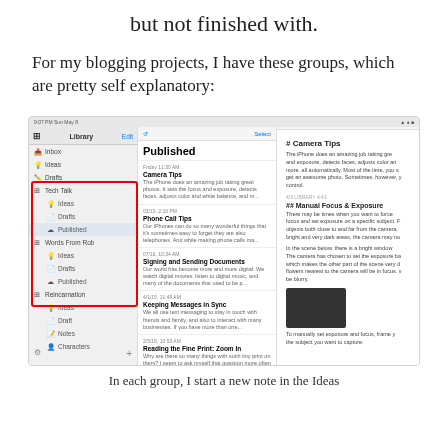but not finished with.
For my blogging projects, I have these groups, which are pretty self explanatory:
[Figure (screenshot): Screenshot of a blogging app (Ulysses or similar) showing a sidebar with groups including Inbox, Ideas, Drafts, Tech Talk (with sub-items Ideas, Drafts, Published highlighted in a red box), Words From Rob (with sub-items Ideas, Drafts, Published also in the red box), Reincarnation (with Ideas, Draft, Notes, Characters). The middle panel shows a 'Published' list with articles: Camera Tips, Phone Call Tips, Signing and Sending Documents, Keeping Messages in Sync, Reading the Fine Print: Zoom In, Find Text on a Web Page. The right panel shows the Camera Tips article content with sections including Manual Focus & Exposure and a dark photo.]
In each group, I start a new note in the Ideas